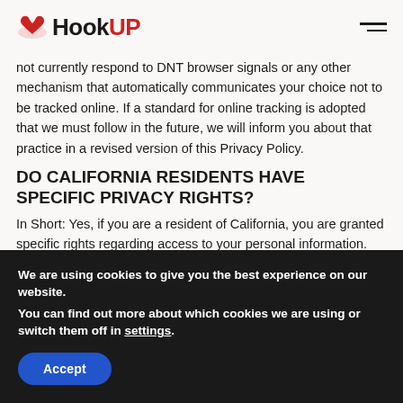HookUP
not currently respond to DNT browser signals or any other mechanism that automatically communicates your choice not to be tracked online. If a standard for online tracking is adopted that we must follow in the future, we will inform you about that practice in a revised version of this Privacy Policy.
DO CALIFORNIA RESIDENTS HAVE SPECIFIC PRIVACY RIGHTS?
In Short: Yes, if you are a resident of California, you are granted specific rights regarding access to your personal information. California Civil Code Section 1798.83, also known as the “Shine The Light” law, permits our users who are California residents to
We are using cookies to give you the best experience on our website.
You can find out more about which cookies we are using or switch them off in settings.
Accept